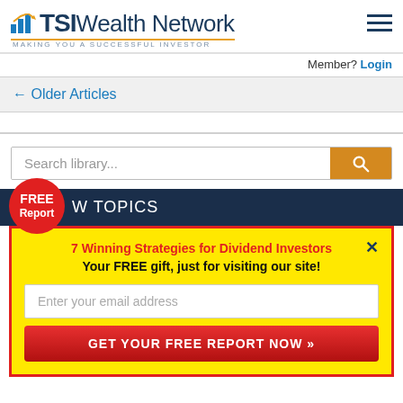[Figure (logo): TSI Wealth Network logo with bar-chart icon and tagline 'Making You A Successful Investor']
Member? Login
← Older Articles
Search library...
FREE Report
W TOPICS
7 Winning Strategies for Dividend Investors
Your FREE gift, just for visiting our site!
Enter your email address
GET YOUR FREE REPORT NOW »